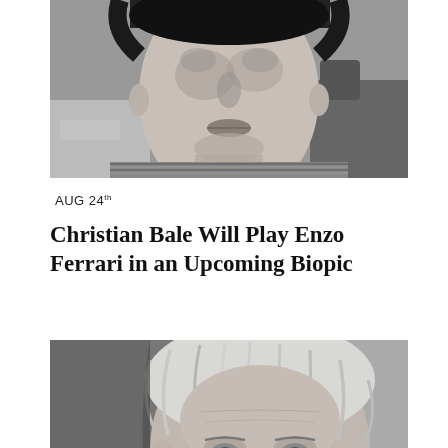[Figure (photo): Black and white close-up photo of a young man's face showing from nose to chin, wearing a striped sweater, with blurred background]
AUG 24th
Christian Bale Will Play Enzo Ferrari in an Upcoming Biopic
[Figure (photo): Black and white close-up photo of an older man's face with grey hair and weathered features, with text overlay reading LEISURE, PEOPLE in vertical orientation on the left side]